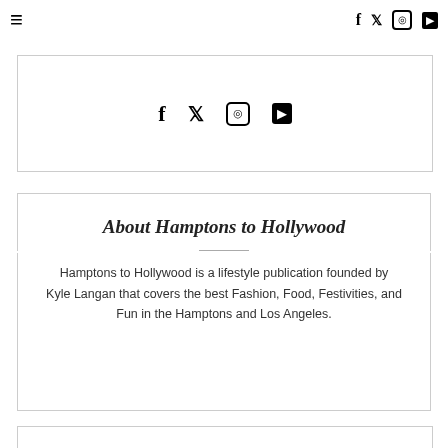≡  f  𝕏  ⓘ  ▶
[Figure (other): Social media icons (Facebook, Twitter, Instagram, YouTube) in a bordered box]
About Hamptons to Hollywood
Hamptons to Hollywood is a lifestyle publication founded by Kyle Langan that covers the best Fashion, Food, Festivities, and Fun in the Hamptons and Los Angeles.
[Figure (other): Bottom bordered box (partial)]